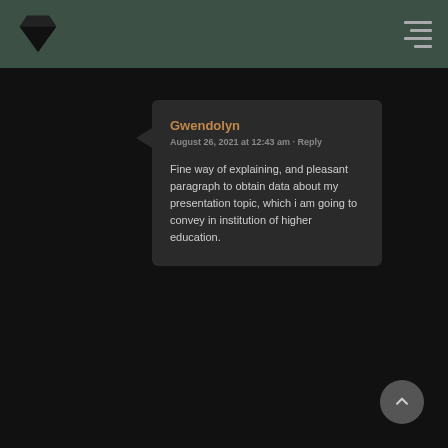Gwendolyn
August 26, 2021 at 12:43 am · Reply
Fine way of explaining, and pleasant paragraph to obtain data about my presentation topic, which i am going to convey in institution of higher education.